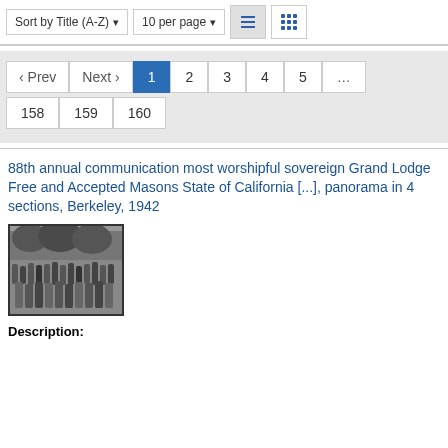[Figure (screenshot): Toolbar with Sort by Title (A-Z) dropdown, 10 per page dropdown, list view icon (active), and grid view icon]
[Figure (screenshot): Pagination navigation: Prev, Next, pages 1 (active/highlighted blue), 2, 3, 4, 5, ..., 158, 159, 160]
88th annual communication most worshipful sovereign Grand Lodge Free and Accepted Masons State of California [...], panorama in 4 sections, Berkeley, 1942
[Figure (photo): Black and white photograph of a group of people (crowd) outdoors, with trees in the background]
Description: